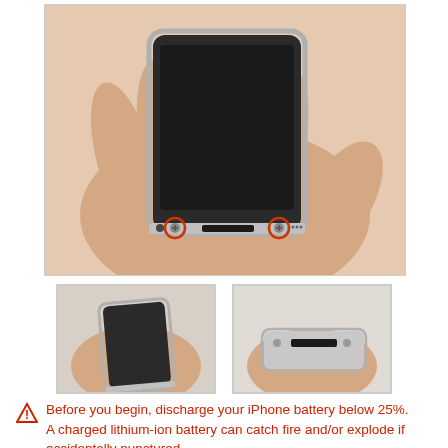[Figure (photo): A hand holding an iPhone from the bottom, showing two circled screws (highlighted in red/orange circles) on the bottom edge of the device near the dock connector port.]
[Figure (photo): Thumbnail 1: A hand holding the iPhone showing the bottom of the device at an angle, dark screen visible.]
[Figure (photo): Thumbnail 2: A hand holding the iPhone showing the bottom edge with the dock connector, silver bezel visible.]
⚠ Before you begin, discharge your iPhone battery below 25%. A charged lithium-ion battery can catch fire and/or explode if accidentally punctured.
Power off your iPhone before beginning disassembly.